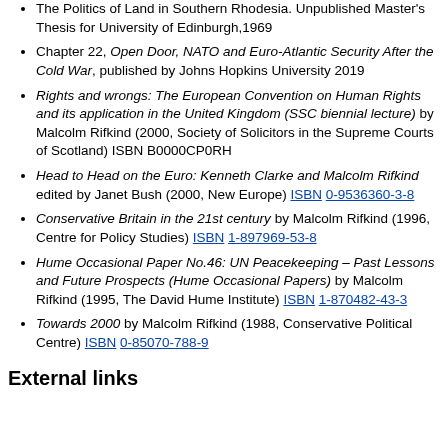The Politics of Land in Southern Rhodesia. Unpublished Master's Thesis for University of Edinburgh,1969
Chapter 22, Open Door, NATO and Euro-Atlantic Security After the Cold War, published by Johns Hopkins University 2019
Rights and wrongs: The European Convention on Human Rights and its application in the United Kingdom (SSC biennial lecture) by Malcolm Rifkind (2000, Society of Solicitors in the Supreme Courts of Scotland) ISBN B0000CP0RH
Head to Head on the Euro: Kenneth Clarke and Malcolm Rifkind edited by Janet Bush (2000, New Europe) ISBN 0-9536360-3-8
Conservative Britain in the 21st century by Malcolm Rifkind (1996, Centre for Policy Studies) ISBN 1-897969-53-8
Hume Occasional Paper No.46: UN Peacekeeping – Past Lessons and Future Prospects (Hume Occasional Papers) by Malcolm Rifkind (1995, The David Hume Institute) ISBN 1-870482-43-3
Towards 2000 by Malcolm Rifkind (1988, Conservative Political Centre) ISBN 0-85070-788-9
External links